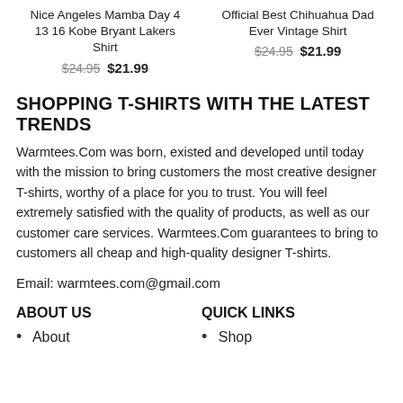Nice Angeles Mamba Day 4 13 16 Kobe Bryant Lakers Shirt $24.95 $21.99
Official Best Chihuahua Dad Ever Vintage Shirt $24.95 $21.99
SHOPPING T-SHIRTS WITH THE LATEST TRENDS
Warmtees.Com was born, existed and developed until today with the mission to bring customers the most creative designer T-shirts, worthy of a place for you to trust. You will feel extremely satisfied with the quality of products, as well as our customer care services. Warmtees.Com guarantees to bring to customers all cheap and high-quality designer T-shirts.
Email: warmtees.com@gmail.com
ABOUT US
QUICK LINKS
About
Shop